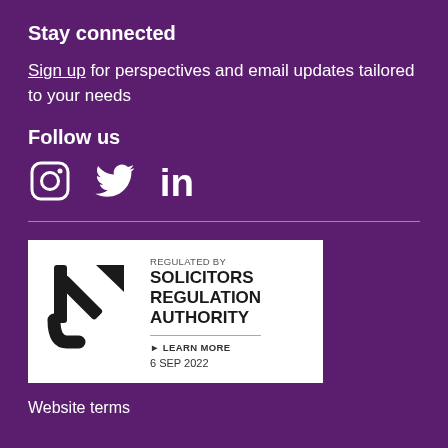Stay connected
Sign up for perspectives and email updates tailored to your needs
Follow us
[Figure (other): Social media icons: Instagram, Twitter, LinkedIn]
[Figure (logo): Regulated by Solicitors Regulation Authority badge. LEARN MORE. 6 SEP 2022]
Website terms